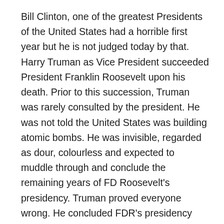Bill Clinton, one of the greatest Presidents of the United States had a horrible first year but he is not judged today by that. Harry Truman as Vice President succeeded President Franklin Roosevelt upon his death. Prior to this succession, Truman was rarely consulted by the president. He was not told the United States was building atomic bombs. He was invisible, regarded as dour, colourless and expected to muddle through and conclude the remaining years of FD Roosevelt's presidency. Truman proved everyone wrong. He concluded FDR's presidency and won the following presidential election on his own steam. Even though he left office with a low approval rating, dispassionate analysis of his presidency showed remarkable achievements which included the much talked about Marshall Plan that rebuilt war ravaged Western Europe, supported the creation of the United Nations, took incalculable political risk by ending racial discrimination in the United States Armed Forces,